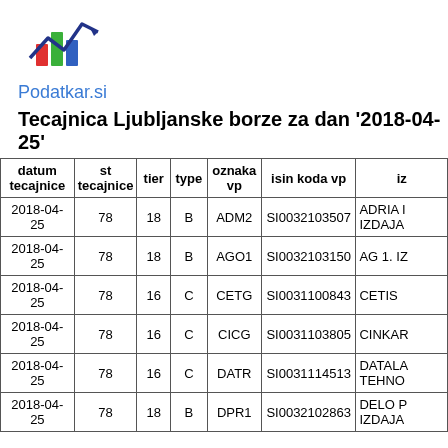[Figure (logo): Podatkar.si logo with bar/line chart icon in red, green, blue and an arrow]
Tecajnica Ljubljanske borze za dan '2018-04-25'
| datum tecajnice | st tecajnice | tier | type | oznaka vp | isin koda vp | iz |
| --- | --- | --- | --- | --- | --- | --- |
| 2018-04-25 | 78 | 18 | B | ADM2 | SI0032103507 | ADRIA I IZDAJA |
| 2018-04-25 | 78 | 18 | B | AGO1 | SI0032103150 | AG 1. IZ |
| 2018-04-25 | 78 | 16 | C | CETG | SI0031100843 | CETIS |
| 2018-04-25 | 78 | 16 | C | CICG | SI0031103805 | CINKAR |
| 2018-04-25 | 78 | 16 | C | DATR | SI0031114513 | DATALA TEHNO |
| 2018-04-25 | 78 | 18 | B | DPR1 | SI0032102863 | DELO P IZDAJA |